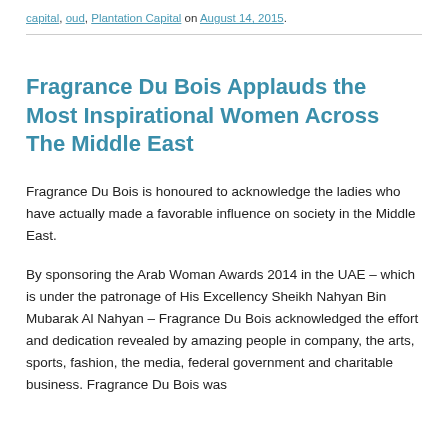capital, oud, Plantation Capital on August 14, 2015.
Fragrance Du Bois Applauds the Most Inspirational Women Across The Middle East
Fragrance Du Bois is honoured to acknowledge the ladies who have actually made a favorable influence on society in the Middle East.
By sponsoring the Arab Woman Awards 2014 in the UAE – which is under the patronage of His Excellency Sheikh Nahyan Bin Mubarak Al Nahyan – Fragrance Du Bois acknowledged the effort and dedication revealed by amazing people in company, the arts, sports, fashion, the media, federal government and charitable business. Fragrance Du Bois was